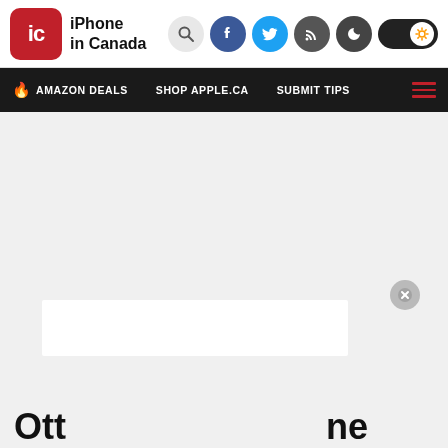iPhone in Canada
AMAZON DEALS   SHOP APPLE.CA   SUBMIT TIPS
[Figure (screenshot): Ad overlay with close button on gray background]
Ott... ...ne